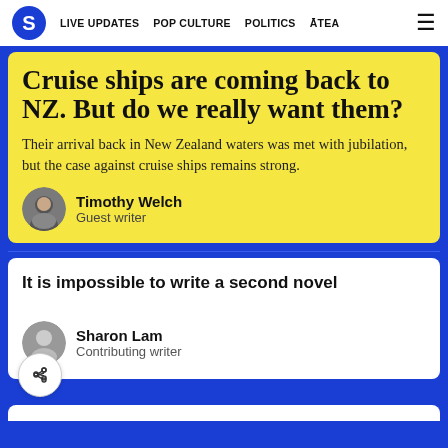S  LIVE UPDATES  POP CULTURE  POLITICS  ĀTEA  ☰
Cruise ships are coming back to NZ. But do we really want them?
Their arrival back in New Zealand waters was met with jubilation, but the case against cruise ships remains strong.
Timothy Welch
Guest writer
It is impossible to write a second novel
Sharon Lam
Contributing writer